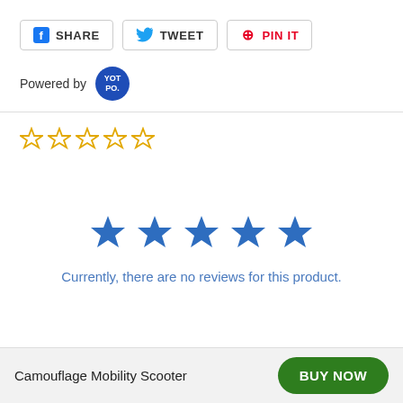[Figure (other): Social sharing buttons: Facebook SHARE, Twitter TWEET, Pinterest PIN IT]
Powered by [YOT PO. logo]
[Figure (other): Five empty yellow star rating icons]
[Figure (other): Five large blue filled star icons]
Currently, there are no reviews for this product.
Camouflage Mobility Scooter
BUY NOW